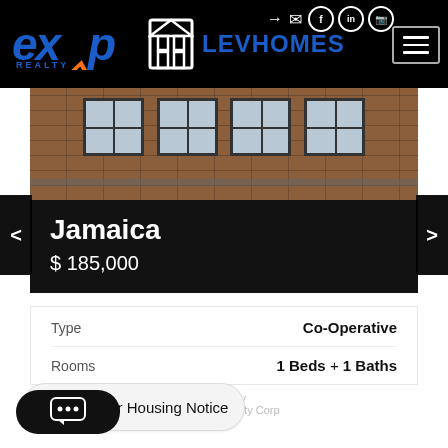[Figure (logo): eXp Realty logo with orange arrow]
[Figure (logo): LevHomes logo with building icon]
[Figure (photo): Brick apartment building exterior with windows]
Jamaica
$ 185,000
|  |  |
| --- | --- |
| Type | Co-Operative |
| Rooms | 1 Beds + 1 Baths |
Listed by Affordable Realty Corp
NY Fair Housing Notice